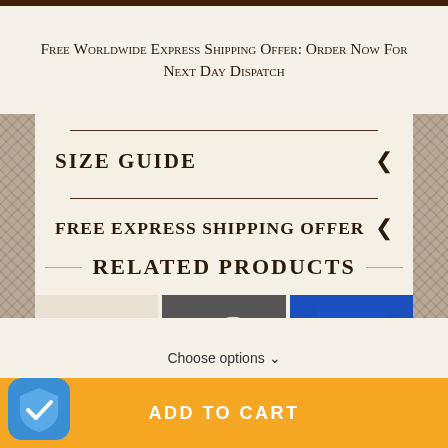Free Worldwide Express Shipping Offer: Order Now For Next Day Dispatch
SIZE GUIDE
FREE EXPRESS SHIPPING OFFER
RELATED PRODUCTS
[Figure (photo): Cream/white knit sweater product thumbnail]
[Figure (photo): White yarn balls on dark background]
[Figure (photo): Blue heraldic emblem with gold stars and padlock]
Choose options ∨
ADD TO CART